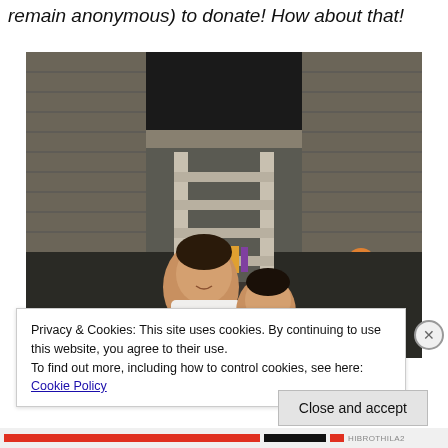remain anonymous) to donate! How about that!
[Figure (photo): Two young girls smiling in front of a wooden stilt house with a ladder/staircase leading to the entrance. The building appears to be a traditional Southeast Asian structure made of weathered wood planks.]
Privacy & Cookies: This site uses cookies. By continuing to use this website, you agree to their use.
To find out more, including how to control cookies, see here: Cookie Policy
Close and accept